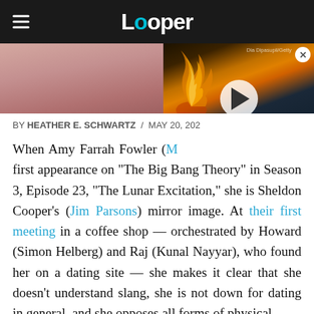Looper
[Figure (photo): Hero image showing a person's face/neck area with pink/red tones, partially obscured by a video player overlay showing flames on a dark background with a play button]
BY HEATHER E. SCHWARTZ / MAY 20, 202...
When Amy Farrah Fowler (M... first appearance on "The Big Bang Theory" in Season 3, Episode 23, "The Lunar Excitation," she is Sheldon Cooper's (Jim Parsons) mirror image. At their first meeting in a coffee shop — orchestrated by Howard (Simon Helberg) and Raj (Kunal Nayyar), who found her on a dating site — she makes it clear that she doesn't understand slang, she is not down for dating in general, and she opposes all forms of physical